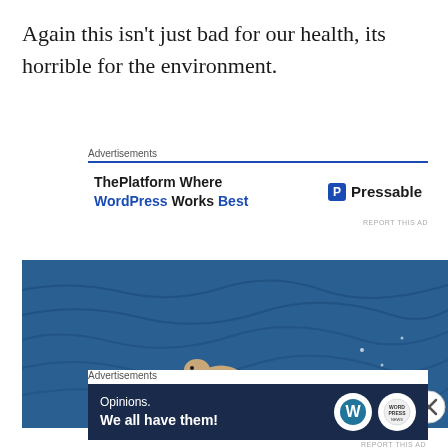Again this isn't just bad for our health, its horrible for the environment.
[Figure (screenshot): Advertisement banner for Pressable WordPress hosting: 'ThePlatform Where WordPress Works Best' with Pressable logo]
[Figure (photo): A seagull standing on a white piece of floating plastic/foam debris on dark blue ocean water, appearing to eat something from it]
[Figure (screenshot): Advertisement banner with dark navy background: 'Opinions. We all have them!' with WordPress and another logo]